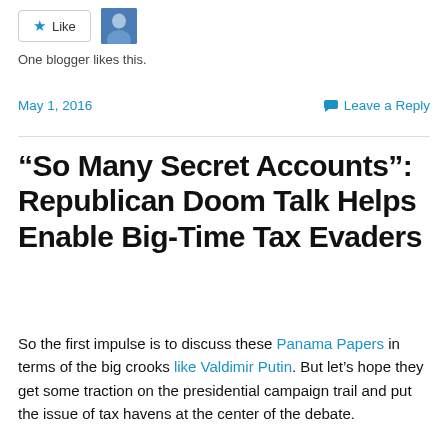[Figure (other): Like button with star icon and user avatar thumbnail]
One blogger likes this.
May 1, 2016
Leave a Reply
“So Many Secret Accounts”: Republican Doom Talk Helps Enable Big-Time Tax Evaders
So the first impulse is to discuss these Panama Papers in terms of the big crooks like Valdimir Putin. But let’s hope they get some traction on the presidential campaign trail and put the issue of tax havens at the center of the debate.